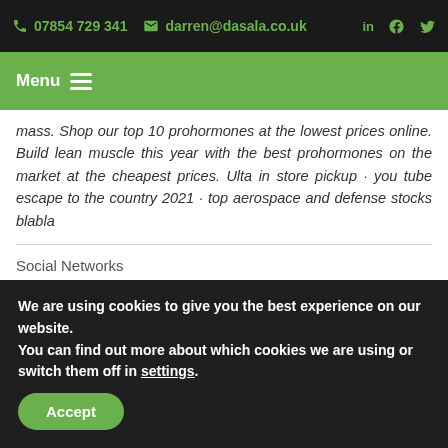07854 729 341   darren@dasala.co.uk
Menu
mass. Shop our top 10 prohormones at the lowest prices online. Build lean muscle this year with the best prohormones on the market at the cheapest prices. Ulta in store pickup · you tube escape to the country 2021 · top aerospace and defense stocks blabla
Social Networks
We are using cookies to give you the best experience on our website.
You can find out more about which cookies we are using or switch them off in settings.
Accept